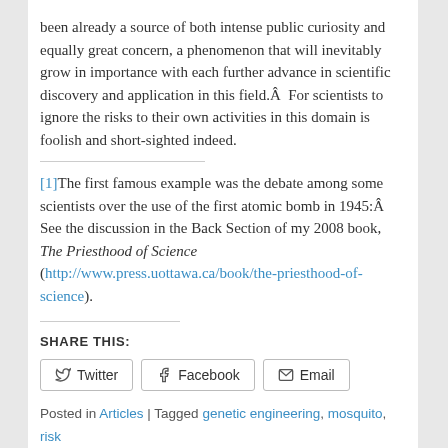been already a source of both intense public curiosity and equally great concern, a phenomenon that will inevitably grow in importance with each further advance in scientific discovery and application in this field.Â  For scientists to ignore the risks to their own activities in this domain is foolish and short-sighted indeed.
[1]The first famous example was the debate among some scientists over the use of the first atomic bomb in 1945:Â  See the discussion in the Back Section of my 2008 book, The Priesthood of Science (http://www.press.uottawa.ca/book/the-priesthood-of-science).
SHARE THIS:
Twitter  Facebook  Email
Posted in Articles | Tagged genetic engineering, mosquito, risk